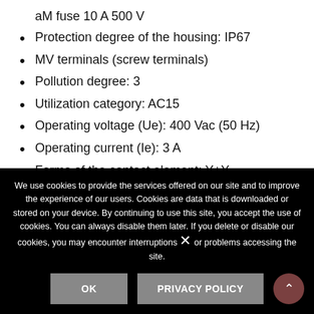aM fuse 10 A 500 V
Protection degree of the housing: IP67
MV terminals (screw terminals)
Pollution degree: 3
Utilization category: AC15
Operating voltage (Ue): 400 Vac (50 Hz)
Operating current (Ie): 3 A
Forms of the contact element: Y+Y
Positive opening of contacts on contact block 9
We use cookies to provide the services offered on our site and to improve the experience of our users. Cookies are data that is downloaded or stored on your device. By continuing to use this site, you accept the use of cookies. You can always disable them later. If you delete or disable our cookies, you may encounter interruptions or problems accessing the site.